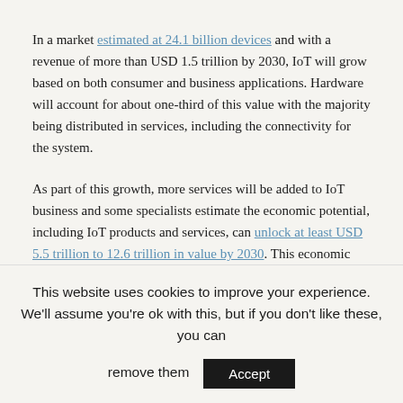In a market estimated at 24.1 billion devices and with a revenue of more than USD 1.5 trillion by 2030, IoT will grow based on both consumer and business applications. Hardware will account for about one-third of this value with the majority being distributed in services, including the connectivity for the system.
As part of this growth, more services will be added to IoT business and some specialists estimate the economic potential, including IoT products and services, can unlock at least USD 5.5 trillion to 12.6 trillion in value by 2030. This economic potential includes the value captured by customers and consumers of IoT products and services.
This website uses cookies to improve your experience. We'll assume you're ok with this, but if you don't like these, you can remove them  Accept